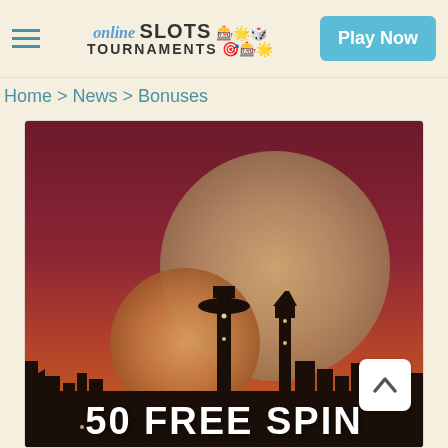online SLOTS TOURNAMENTS — Play Now
Home > News > Bonuses
[Figure (illustration): Stylized Las Vegas skyline silhouette at sunset with large orange/brown moons against a dark red sky gradient. Text at the bottom reads '50 FREE SPINS' (partially visible).]